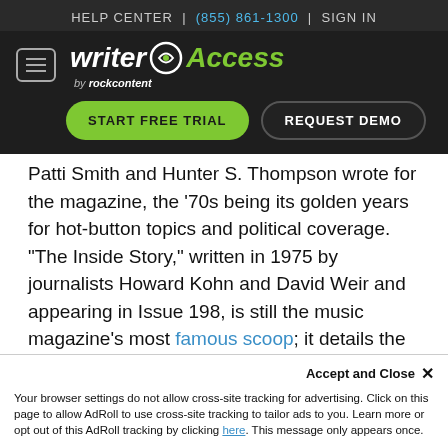HELP CENTER | (855) 861-1300 | SIGN IN
[Figure (logo): WriterAccess by rockcontent logo with START FREE TRIAL and REQUEST DEMO buttons]
Patti Smith and Hunter S. Thompson wrote for the magazine, the '70s being its golden years for hot-button topics and political coverage. “The Inside Story,” written in 1975 by journalists Howard Kohn and David Weir and appearing in Issue 198, is still the music magazine’s most famous scoop; it details the bizarre tale of Patty Hearst and the Symbionese Liberation Army.
Accept and Close × Your browser settings do not allow cross-site tracking for advertising. Click on this page to allow AdRoll to use cross-site tracking to tailor ads to you. Learn more or opt out of this AdRoll tracking by clicking here. This message only appears once.